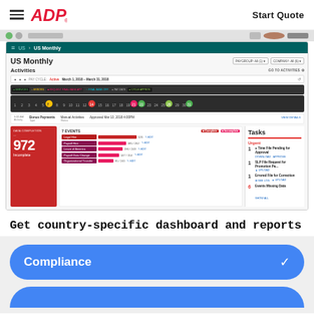[Figure (screenshot): ADP payroll dashboard screenshot showing US Monthly payroll activities, pay cycle timeline, data completion (972 incomplete), events list (Legal Hire, Payroll Hire, Leave of Absence, Payroll Data Change, Organizational Transfer), and Tasks panel with urgent items.]
Get country-specific dashboard and reports
Compliance
[Figure (screenshot): Partially visible blue pill button at bottom of page]